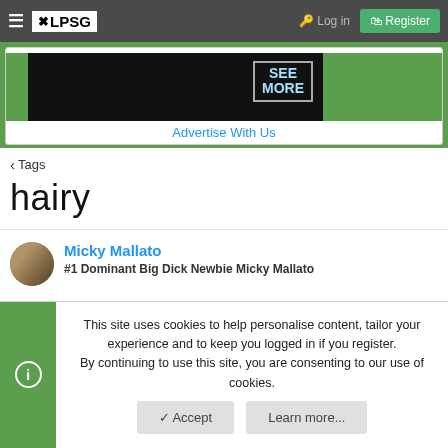KLPSG — Log in | Register
[Figure (screenshot): Advertisement banner with SEE MORE overlay on dark background, with green side panels and Advertise With Us link]
Advertise With Us
< Tags
hairy
Micky Mallato
#1 Dominant Big Dick Newbie Micky Mallato
This site uses cookies to help personalise content, tailor your experience and to keep you logged in if you register.
By continuing to use this site, you are consenting to our use of cookies.